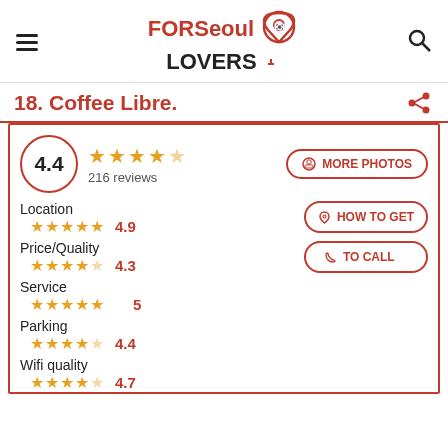FOR Seoul LOVERS (logo with pin icon)
18. Coffee Libre.
4.4 ★★★★☆ 216 reviews
Location ★★★★★ 4.9
Price/Quality ★★★★☆ 4.3
Service ★★★★★ 5
Parking ★★★★☆ 4.4
Wifi quality ★★★★☆ 4.7
MORE PHOTOS
HOW TO GET
TO CALL